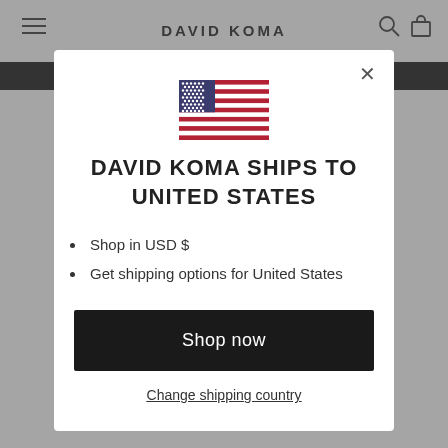DAVID KOMA
[Figure (illustration): US Flag emoji/illustration centered in modal]
DAVID KOMA SHIPS TO UNITED STATES
Shop in USD $
Get shipping options for United States
Shop now
Change shipping country